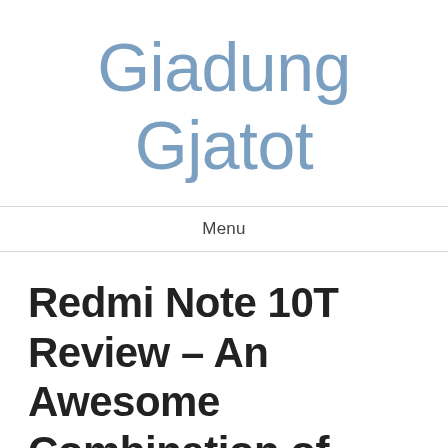Giadung Gjatot
Menu
Redmi Note 10T Review – An Awesome Combination of High Speed Communication